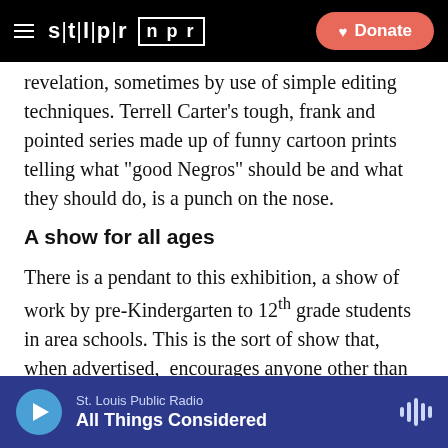STLPR NPR | Donate
revelation, sometimes by use of simple editing techniques. Terrell Carter's tough, frank and pointed series made up of funny cartoon prints telling what “good Negros” should be and what they should do, is a punch on the nose.
A show for all ages
There is a pendant to this exhibition, a show of work by pre-Kindergarten to 12th grade students in area schools. This is the sort of show that, when advertised, encourages anyone other than relatives and close friends to head for child-proof hills. This one is an
St. Louis Public Radio | All Things Considered